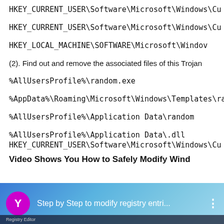HKEY_CURRENT_USER\Software\Microsoft\Windows\Cu
HKEY_CURRENT_USER\Software\Microsoft\Windows\Cu
HKEY_LOCAL_MACHINE\SOFTWARE\Microsoft\Windov
(2). Find out and remove the associated files of this Trojan
%AllUsersProfile%\random.exe
%AppData%\Roaming\Microsoft\Windows\Templates\ran
%AllUsersProfile%\Application Data\random
%AllUsersProfile%\Application Data\.dll
HKEY_CURRENT_USER\Software\Microsoft\Windows\Cu
Video Shows You How to Safely Modify Wind
[Figure (screenshot): Video thumbnail showing a YouTube-style video player with a purple 'Y' icon, title 'Step by Step to modify registry entri...' and a three-dot menu icon, over a blue/sky background.]